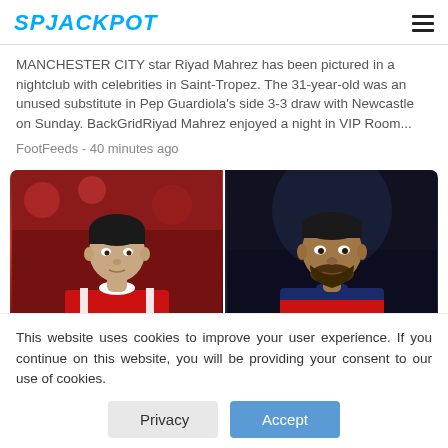SPJACKPOT
MANCHESTER CITY star Riyad Mahrez has been pictured in a nightclub with celebrities in Saint-Tropez. The 31-year-old was an unused substitute in Pep Guardiola’s side 3-3 draw with Newcastle on Sunday. BackGridRiyad Mahrez enjoyed a night in VIP Room...
FootFeeds - 40 minutes ago
[Figure (photo): Two side-by-side photos of a footballer (Memphis Depay): left photo in a red Manchester United kit, right photo in a blue FC Barcelona kit]
This website uses cookies to improve your user experience. If you continue on this website, you will be providing your consent to our use of cookies.